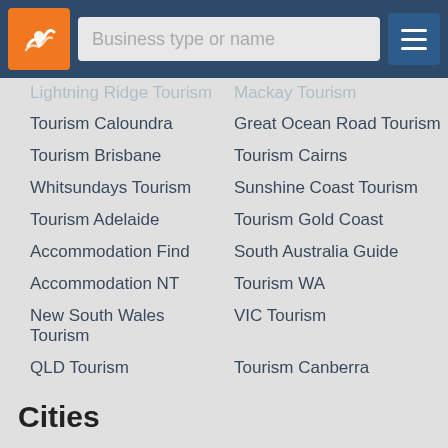Business type or name
Lightning Ridge Tourism
Mackay Tourism
Tourism Caloundra
Great Ocean Road Tourism
Tourism Brisbane
Tourism Cairns
Whitsundays Tourism
Sunshine Coast Tourism
Tourism Adelaide
Tourism Gold Coast
Accommodation Find
South Australia Guide
Accommodation NT
Tourism WA
New South Wales Tourism
VIC Tourism
QLD Tourism
Tourism Canberra
Cities
New South Wales
Victoria
Queensland
South Australia
Western Australia
Northern Territory
Tasmania
Australian Capital Territory